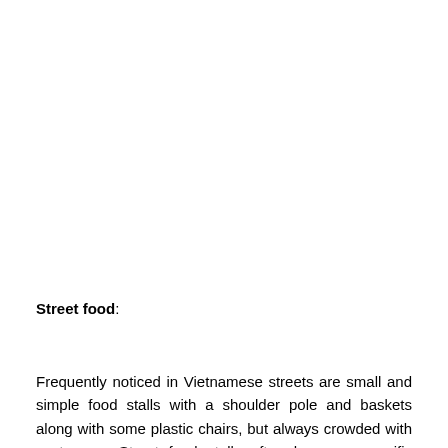Street food:
Frequently noticed in Vietnamese streets are small and simple food stalls with a shoulder pole and baskets along with some plastic chairs, but always crowded with customers. Street food stalls often have no specific addresses and are attractive to customers merely